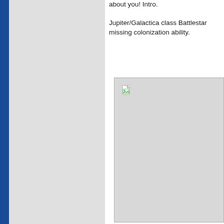about you! Intro.
Jupiter/Galactica class Battlestar missing colonization ability.
[Figure (other): Broken/missing image placeholder with a small broken image icon in the top-left corner, shown inside a light gray bordered box.]